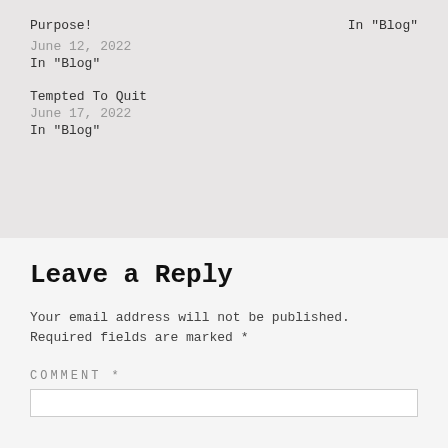Purpose!    In "Blog"
June 12, 2022
In "Blog"
Tempted To Quit
June 17, 2022
In "Blog"
Leave a Reply
Your email address will not be published. Required fields are marked *
COMMENT *